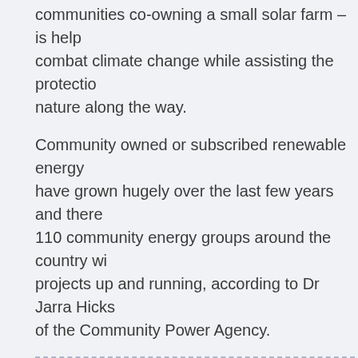communities co-owning a small solar farm – is help combat climate change while assisting the protection nature along the way.
Community owned or subscribed renewable energy have grown hugely over the last few years and there 110 community energy groups around the country wi projects up and running, according to Dr Jarra Hicks of the Community Power Agency.
[Figure (other): A dashed-border box placeholder for an image or figure, shown empty.]